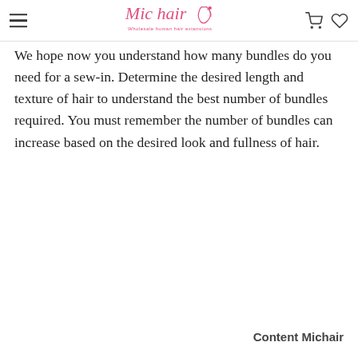Mic hair — Wholesale human hair extensions (logo header with navigation icons)
We hope now you understand how many bundles do you need for a sew-in. Determine the desired length and texture of hair to understand the best number of bundles required. You must remember the number of bundles can increase based on the desired look and fullness of hair.
Content Michair